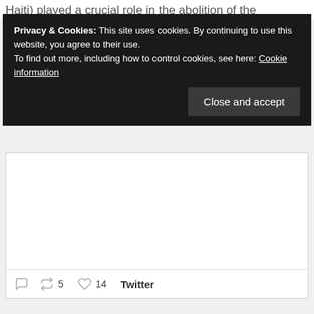Haiti) played a crucial role in the abolition of the
Privacy & Cookies: This site uses cookies. By continuing to use this website, you agree to their use.
To find out more, including how to control cookies, see here: Cookie information
Close and accept
[Figure (screenshot): Empty white embedded content area (tweet image placeholder)]
5  14  Twitter